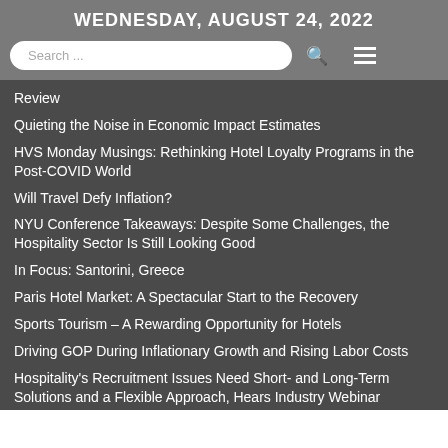WEDNESDAY, AUGUST 24, 2022
Review
Quieting the Noise in Economic Impact Estimates
HVS Monday Musings: Rethinking Hotel Loyalty Programs in the Post-COVID World
Will Travel Defy Inflation?
NYU Conference Takeaways: Despite Some Challenges, the Hospitality Sector Is Still Looking Good
In Focus: Santorini, Greece
Paris Hotel Market: A Spectacular Start to the Recovery
Sports Tourism – A Rewarding Opportunity for Hotels
Driving GOP During Inflationary Growth and Rising Labor Costs
Hospitality's Recruitment Issues Need Short- and Long-Term Solutions and a Flexible Approach, Hears Industry Webinar